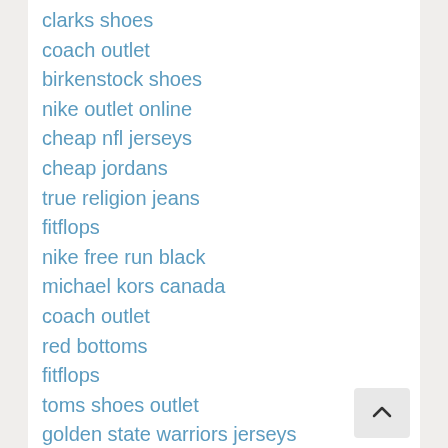clarks shoes
coach outlet
birkenstock shoes
nike outlet online
cheap nfl jerseys
cheap jordans
true religion jeans
fitflops
nike free run black
michael kors canada
coach outlet
red bottoms
fitflops
toms shoes outlet
golden state warriors jerseys
rolex replica watches
michael kors uk
nmd adidas
cheap jordans
ray ban sunglasses discount